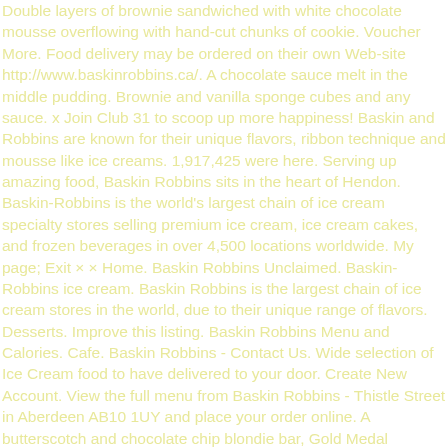Double layers of brownie sandwiched with white chocolate mousse overflowing with hand-cut chunks of cookie. Voucher More. Food delivery may be ordered on their own Web-site http://www.baskinrobbins.ca/. A chocolate sauce melt in the middle pudding. Brownie and vanilla sponge cubes and any sauce. x Join Club 31 to scoop up more happiness! Baskin and Robbins are known for their unique flavors, ribbon technique and mousse like ice creams. 1,917,425 were here. Serving up amazing food, Baskin Robbins sits in the heart of Hendon. Baskin-Robbins is the world's largest chain of ice cream specialty stores selling premium ice cream, ice cream cakes, and frozen beverages in over 4,500 locations worldwide. My page; Exit × × Home. Baskin Robbins Unclaimed. Baskin-Robbins ice cream. Baskin Robbins is the largest chain of ice cream stores in the world, due to their unique range of flavors. Desserts. Improve this listing. Baskin Robbins Menu and Calories. Cafe. Baskin Robbins - Contact Us. Wide selection of Ice Cream food to have delivered to your door. Create New Account. View the full menu from Baskin Robbins - Thistle Street in Aberdeen AB10 1UY and place your order online. A butterscotch and chocolate chip blondie bar, Gold Medal Ribbons ice cream and if you like more hot butterscotch sauce, Chewy Choc Chip Cookie Cup, filled with a choice of Cookie dough ice cream, Cream, Sauce and Sprinkles, A rich and creamy vanilla topped cake with a baked biscuit base, A rich and creamy vanilla topped cake with a baked biscuit base drizzled in nutella sauce. In this article, we will